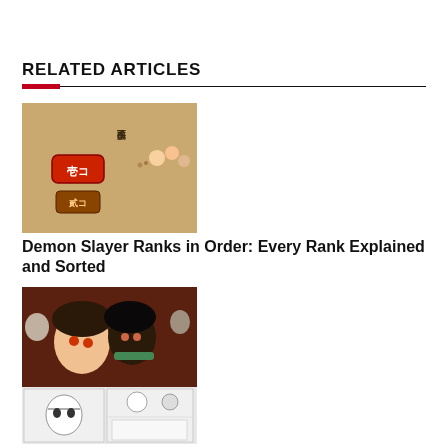RELATED ARTICLES
[Figure (photo): Demon Slayer ranks chart with Japanese characters and chibi character illustrations on aged parchment background]
Demon Slayer Ranks in Order: Every Rank Explained and Sorted
[Figure (photo): Demon Slayer anime characters collage - top portion shows colorful anime art of Tanjiro and Nezuko, bottom portion shows manga black and white panels]
Can Nezuko Talk in Demon Slayer? (& Times She Did)
[Figure (photo): Partially visible article thumbnail images at bottom of page]